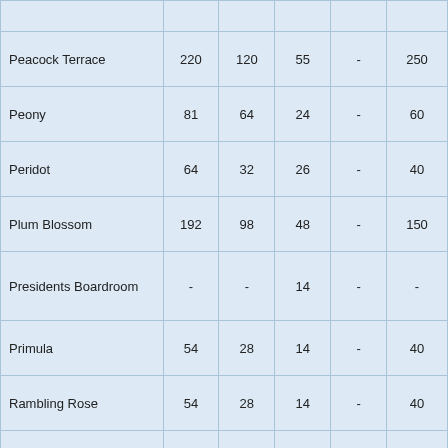| Room | Col1 | Col2 | Col3 | Col4 | Col5 |
| --- | --- | --- | --- | --- | --- |
| Peacock Terrace | 220 | 120 | 55 | - | 250 |
| Peony | 81 | 64 | 24 | - | 60 |
| Peridot | 64 | 32 | 26 | - | 40 |
| Plum Blossom | 192 | 98 | 48 | - | 150 |
| Presidents Boardroom | - | - | 14 | - | - |
| Primula | 54 | 28 | 14 | - | 40 |
| Rambling Rose | 54 | 28 | 14 | - | 40 |
| Rosetta | 144 | 73 | 46 | - | 100 |
| Ruby | 42 | 27 | 22 | - | 30 |
| Sapphire | 200 | 110 | 52 | - | 150 |
| Senators Lecture Hall | 169 | 169 | - | - | - |
| Stemmons Ballroom | 765 | 566 | 106 | - | 660 |
| Stemmons Ballroom A | 180 | 126 | 52 | - | 140 |